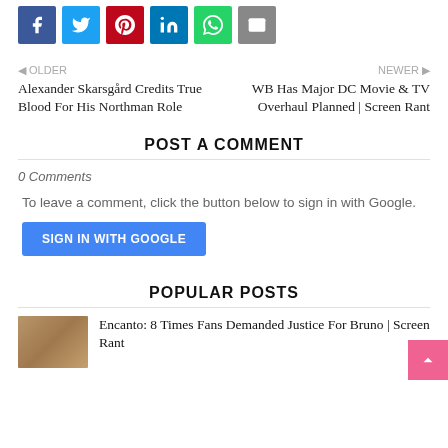[Figure (other): Social share buttons: Facebook (blue), Twitter (light blue), Pinterest (red), LinkedIn (blue), WhatsApp (green), Email (gray)]
< OLDER
Alexander Skarsgård Credits True Blood For His Northman Role
NEWER >
WB Has Major DC Movie & TV Overhaul Planned | Screen Rant
POST A COMMENT
0 Comments
To leave a comment, click the button below to sign in with Google.
[Figure (other): SIGN IN WITH GOOGLE button (blue)]
POPULAR POSTS
[Figure (photo): Thumbnail image for Encanto article]
Encanto: 8 Times Fans Demanded Justice For Bruno | Screen Rant